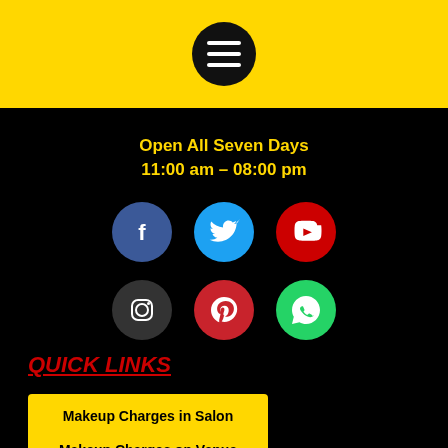[Figure (other): Yellow header bar with a black circular hamburger menu icon (three white horizontal lines)]
Open All Seven Days
11:00 am – 08:00 pm
[Figure (other): Six social media icons in two rows: Facebook (blue), Twitter (blue), YouTube (red), Instagram (dark gray), Pinterest (red), WhatsApp (green)]
QUICK LINKS
Makeup Charges in Salon
Makeup Charges on Venue